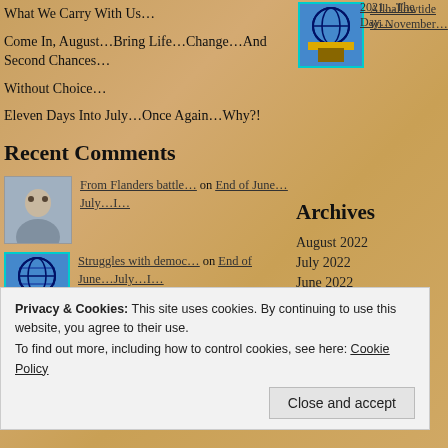What We Carry With Us…
Come In, August…Bring Life…Change…And Second Chances…
Without Choice…
Eleven Days Into July…Once Again…Why?!
Recent Comments
From Flanders battle… on End of June…July…I…
Struggles with democ… on End of June…July…I…
alphaenlight on January 6, 2021…The Day…
Archives
August 2022
July 2022
June 2022
May 2022
April 2022
March 2022
February 2022
January 2022
Privacy & Cookies: This site uses cookies. By continuing to use this website, you agree to their use. To find out more, including how to control cookies, see here: Cookie Policy
Close and accept